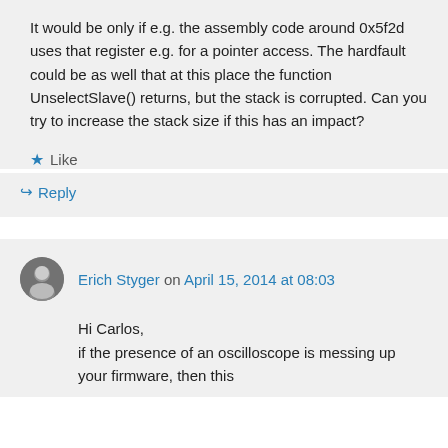It would be only if e.g. the assembly code around 0x5f2d uses that register e.g. for a pointer access. The hardfault could be as well that at this place the function UnselectSlave() returns, but the stack is corrupted. Can you try to increase the stack size if this has an impact?
★ Like
↳ Reply
Erich Styger on April 15, 2014 at 08:03
Hi Carlos,
if the presence of an oscilloscope is messing up your firmware, then this